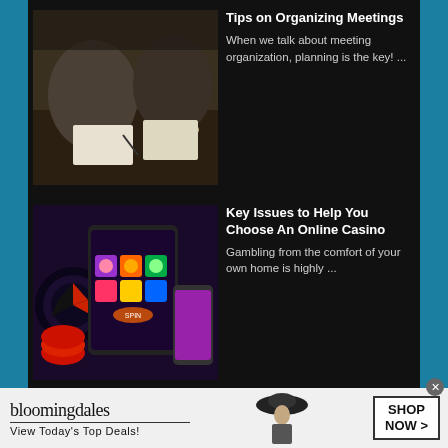[Figure (photo): People at a meeting table writing notes, viewed from above, dark toned photo]
Tips on Organizing Meetings
When we talk about meeting organization, planning is the key! ...
[Figure (photo): Online casino themed image with roulette wheel, slot machine game on tablet, playing cards and casino chips, mobile phone with casino game]
Key Issues to Help You Choose An Online Casino
Gambling from the comfort of your own home is highly ...
[Figure (photo): Bloomingdales advertisement banner: logo, View Today's Top Deals tagline, woman with wide-brim hat, SHOP NOW button]